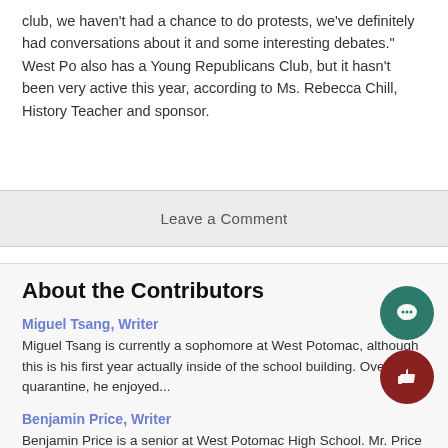club, we haven't had a chance to do protests, we've definitely had conversations about it and some interesting debates." West Po also has a Young Republicans Club, but it hasn't been very active this year, according to Ms. Rebecca Chill, History Teacher and sponsor.
Leave a Comment
About the Contributors
Miguel Tsang, Writer
Miguel Tsang is currently a sophomore at West Potomac, although this is his first year actually inside of the school building. Over quarantine, he enjoyed...
Benjamin Price, Writer
Benjamin Price is a senior at West Potomac High School. Mr. Price